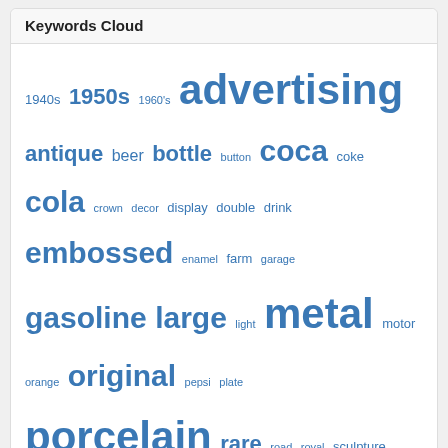Keywords Cloud
[Figure (infographic): A tag/keyword cloud with blue words of varying sizes representing popular search terms: 1940s, 1950s, 1960's, advertising, antique, beer, bottle, button, coca, coke, cola, crown, decor, display, double, drink, embossed, enamel, farm, garage, gasoline, large, light, metal, motor, orange, original, pepsi, plate, porcelain, rare, road, royal, sculpture, service, sided, sign, signed, signs, soda, station, store, thermometer, vintage, wall]
Recent Search
antique round carburetor specialist hygrade system sign 1950s
Vintage metal Pepsi thermometer advertisement sign
1940s bigger better pepsi drink thermomerter
vintage piggly wiggly signs
mobil gas pump script